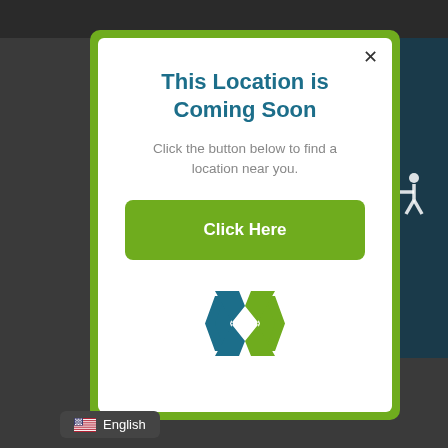This Location is Coming Soon
Click the button below to find a location near you.
[Figure (illustration): A green 'Click Here' button]
[Figure (logo): Xponential fitness X logo in teal and green]
English